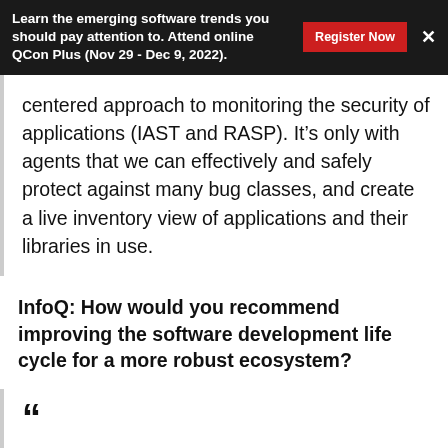Learn the emerging software trends you should pay attention to. Attend online QCon Plus (Nov 29 - Dec 9, 2022).
centered approach to monitoring the security of applications (IAST and RASP). It’s only with agents that we can effectively and safely protect against many bug classes, and create a live inventory view of applications and their libraries in use.
InfoQ: How would you recommend improving the software development life cycle for a more robust ecosystem?
Dabirsiaghi: As a community, I’d venture to say that we generally do know how to create secure code, but it’s expensive and slow, and